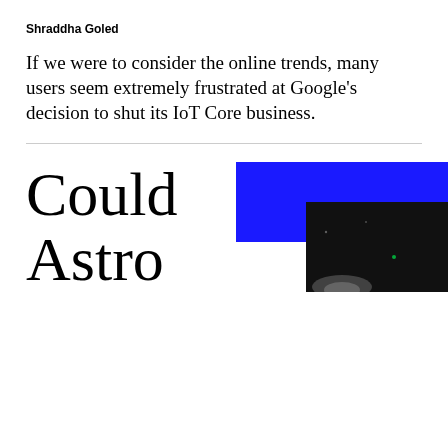Shraddha Goled
If we were to consider the online trends, many users seem extremely frustrated at Google's decision to shut its IoT Core business.
Could Astro